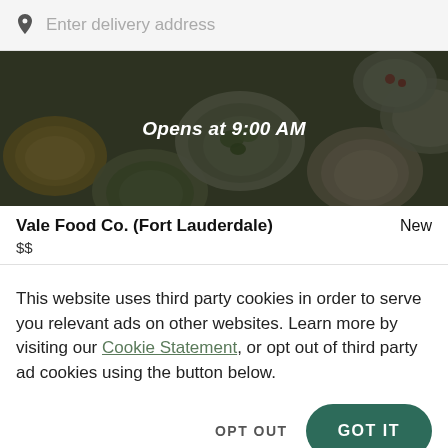Enter delivery address
[Figure (photo): Food delivery app banner showing various bowls of food from above with a dark overlay. Text reads 'Opens at 9:00 AM' in white italic.]
Vale Food Co. (Fort Lauderdale)
New
$$
This website uses third party cookies in order to serve you relevant ads on other websites. Learn more by visiting our Cookie Statement, or opt out of third party ad cookies using the button below.
OPT OUT
GOT IT